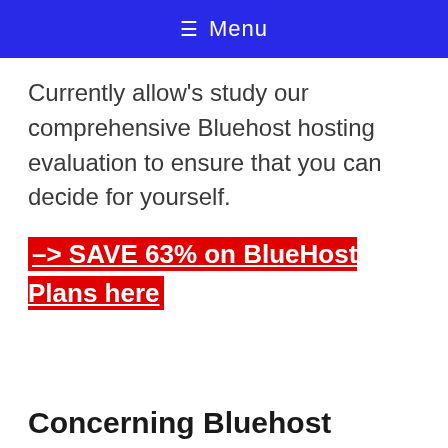☰ Menu
Currently allow's study our comprehensive Bluehost hosting evaluation to ensure that you can decide for yourself.
–> SAVE 63% on BlueHost Plans here
Concerning Bluehost